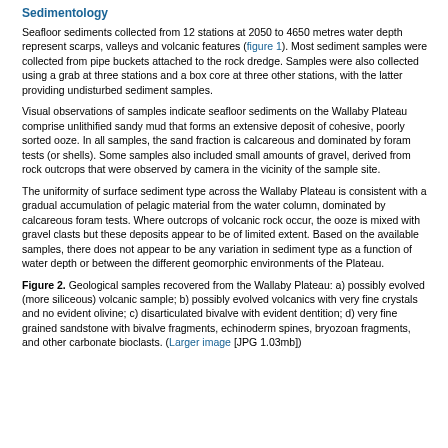Sedimentology
Seafloor sediments collected from 12 stations at 2050 to 4650 metres water depth represent scarps, valleys and volcanic features (figure 1). Most sediment samples were collected from pipe buckets attached to the rock dredge. Samples were also collected using a grab at three stations and a box core at three other stations, with the latter providing undisturbed sediment samples.
Visual observations of samples indicate seafloor sediments on the Wallaby Plateau comprise unlithified sandy mud that forms an extensive deposit of cohesive, poorly sorted ooze. In all samples, the sand fraction is calcareous and dominated by foram tests (or shells). Some samples also included small amounts of gravel, derived from rock outcrops that were observed by camera in the vicinity of the sample site.
The uniformity of surface sediment type across the Wallaby Plateau is consistent with a gradual accumulation of pelagic material from the water column, dominated by calcareous foram tests. Where outcrops of volcanic rock occur, the ooze is mixed with gravel clasts but these deposits appear to be of limited extent. Based on the available samples, there does not appear to be any variation in sediment type as a function of water depth or between the different geomorphic environments of the Plateau.
Figure 2. Geological samples recovered from the Wallaby Plateau: a) possibly evolved (more siliceous) volcanic sample; b) possibly evolved volcanics with very fine crystals and no evident olivine; c) disarticulated bivalve with evident dentition; d) very fine grained sandstone with bivalve fragments, echinoderm spines, bryozoan fragments, and other carbonate bioclasts. (Larger image [JPG 1.03mb])